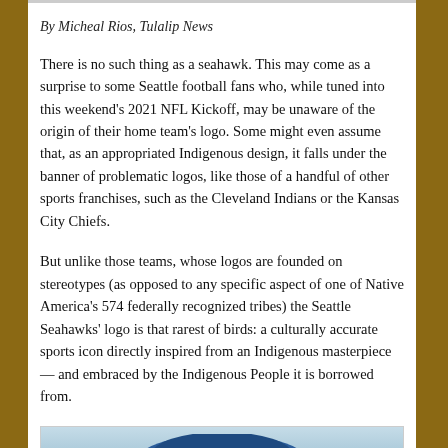By Micheal Rios, Tulalip News
There is no such thing as a seahawk. This may come as a surprise to some Seattle football fans who, while tuned into this weekend's 2021 NFL Kickoff, may be unaware of the origin of their home team's logo. Some might even assume that, as an appropriated Indigenous design, it falls under the banner of problematic logos, like those of a handful of other sports franchises, such as the Cleveland Indians or the Kansas City Chiefs.
But unlike those teams, whose logos are founded on stereotypes (as opposed to any specific aspect of one of Native America's 574 federally recognized tribes) the Seattle Seahawks' logo is that rarest of birds: a culturally accurate sports icon directly inspired from an Indigenous masterpiece — and embraced by the Indigenous People it is borrowed from.
[Figure (photo): Partial view of a person wearing a blue knit hat with colorful design, photo cropped at top of frame]